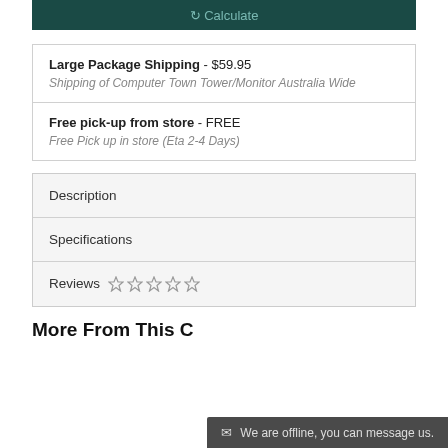[Figure (screenshot): Dark teal button with refresh icon and 'Calculate' text]
Large Package Shipping - $59.95
Shipping of Computer Town Tower/Monitor Australia Wide
Free pick-up from store - FREE
Free Pick up in store (Eta 2-4 Days)
Description
Specifications
Reviews ☆ ☆ ☆ ☆ ☆
More From This C
We are offline, you can message us.